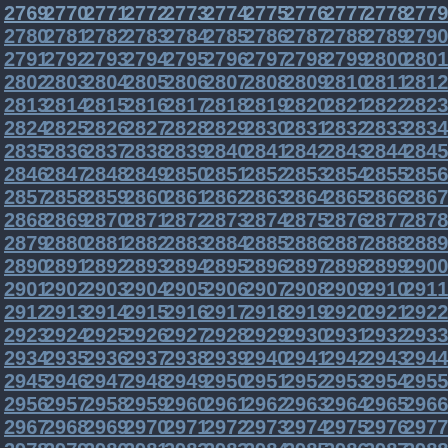2769 2770 2771 2772 2773 2774 2775 2776 2777 2778 2779 2780 2781 2782 2783 2784 2785 2786 2787 2788 2789 2790 2791 2792 2793 2794 2795 2796 2797 2798 2799 2800 2801 2802 2803 2804 2805 2806 2807 2808 2809 2810 2811 2812 2813 2814 2815 2816 2817 2818 2819 2820 2821 2822 2823 2824 2825 2826 2827 2828 2829 2830 2831 2832 2833 2834 2835 2836 2837 2838 2839 2840 2841 2842 2843 2844 2845 2846 2847 2848 2849 2850 2851 2852 2853 2854 2855 2856 2857 2858 2859 2860 2861 2862 2863 2864 2865 2866 2867 2868 2869 2870 2871 2872 2873 2874 2875 2876 2877 2878 2879 2880 2881 2882 2883 2884 2885 2886 2887 2888 2889 2890 2891 2892 2893 2894 2895 2896 2897 2898 2899 2900 2901 2902 2903 2904 2905 2906 2907 2908 2909 2910 2911 2912 2913 2914 2915 2916 2917 2918 2919 2920 2921 2922 2923 2924 2925 2926 2927 2928 2929 2930 2931 2932 2933 2934 2935 2936 2937 2938 2939 2940 2941 2942 2943 2944 2945 2946 2947 2948 2949 2950 2951 2952 2953 2954 2955 2956 2957 2958 2959 2960 2961 2962 2963 2964 2965 2966 2967 2968 2969 2970 2971 2972 2973 2974 2975 2976 2977 2978 2979 2980 2981 2982 2983 2984 2985 2986 2987 2988 2989 2990 2991 2992 2993 2994 2995 2996 2997 2998 2999